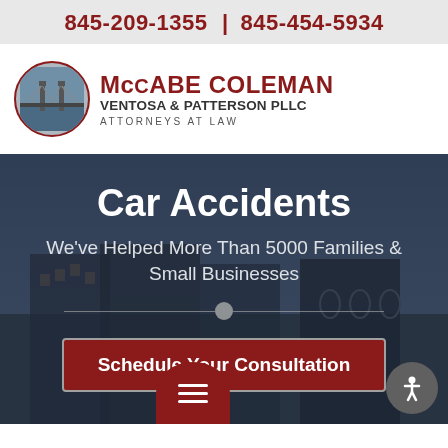845-209-1355 | 845-454-5934
[Figure (logo): McCabe Coleman Ventosa & Patterson PLLC logo with bridge illustration in circular frame]
Car Accidents
We've Helped More Than 5000 Families & Small Businesses
Schedule Your Consultation